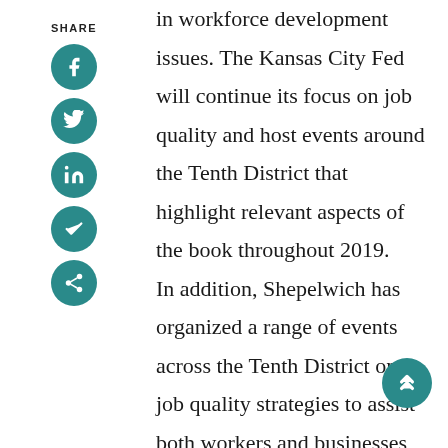SHARE
[Figure (infographic): Social share buttons: Facebook, Twitter, LinkedIn, Bookmark, Share (teal circular icons)]
in workforce development issues. The Kansas City Fed will continue its focus on job quality and host events around the Tenth District that highlight relevant aspects of the book throughout 2019.

In addition, Shepelwich has organized a range of events across the Tenth District on job quality strategies to assist both workers and businesses, often partnering with national organizations such as the Aspen Institute, a policy studies organization that provides a nonpartisan ve… for dealing with critical issues, and the National… for Workforce Solutions which help…